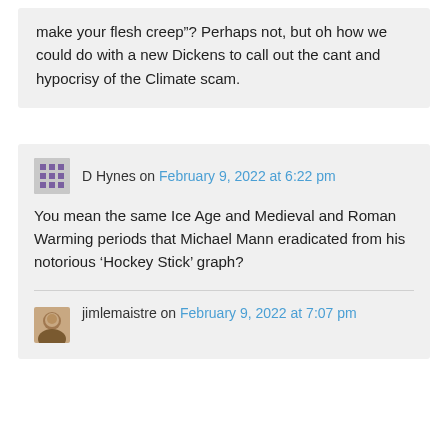make your flesh creep”? Perhaps not, but oh how we could do with a new Dickens to call out the cant and hypocrisy of the Climate scam.
D Hynes on February 9, 2022 at 6:22 pm
You mean the same Ice Age and Medieval and Roman Warming periods that Michael Mann eradicated from his notorious ‘Hockey Stick’ graph?
jimlemaistre on February 9, 2022 at 7:07 pm